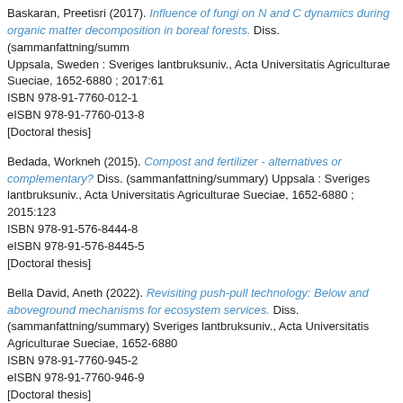Baskaran, Preetisri (2017). Influence of fungi on N and C dynamics during organic matter decomposition in boreal forests. Diss. (sammanfattning/summary) Uppsala, Sweden : Sveriges lantbruksuniv., Acta Universitatis Agriculturae Sueciae, 1652-6880 ; 2017:61 ISBN 978-91-7760-012-1 eISBN 978-91-7760-013-8 [Doctoral thesis]
Bedada, Workneh (2015). Compost and fertilizer - alternatives or complementary? Diss. (sammanfattning/summary) Uppsala : Sveriges lantbruksuniv., Acta Universitatis Agriculturae Sueciae, 1652-6880 ; 2015:123 ISBN 978-91-576-8444-8 eISBN 978-91-576-8445-5 [Doctoral thesis]
Bella David, Aneth (2022). Revisiting push-pull technology: Below and aboveground mechanisms for ecosystem services. Diss. (sammanfattning/summary) Sveriges lantbruksuniv., Acta Universitatis Agriculturae Sueciae, 1652-6880 ISBN 978-91-7760-945-2 eISBN 978-91-7760-946-9 [Doctoral thesis]
Benegas Negri, Laura Andrea (2018). The role of scattered trees in soil water dynamics of pastures and agricultural lands in the Central American Tropics. Diss. (sammanfattning/summary) Umeå : Sveriges lantbruksuniv., Acta Universitatis Agriculturae Sueciae, 1652-6880 ; 2018:6 ISBN 978-91-7760-152-4 eISBN 978-91-7760-153-1 [Doctoral thesis]